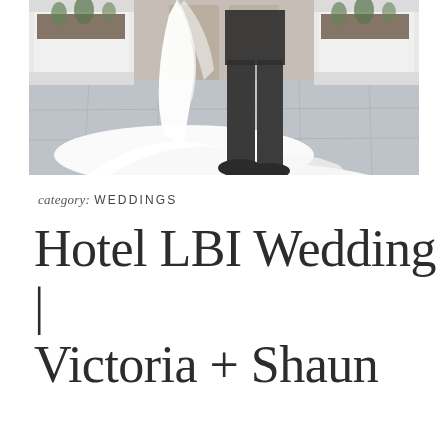[Figure (photo): Wedding photo showing a bride in a white flowing gown with a long train and a groom in a dark suit, photographed from below the waist, standing on stone pavers with white planters in the background.]
category: WEDDINGS
Hotel LBI Wedding | Victoria + Shaun